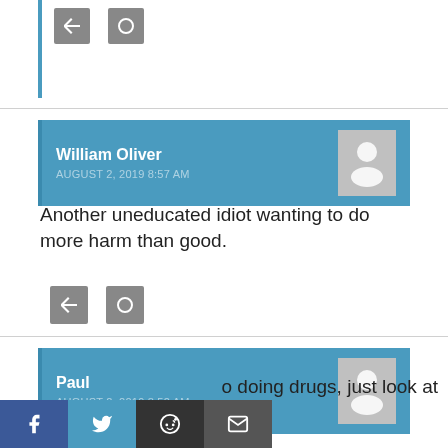[Figure (other): Partial comment block at top with two action buttons]
William Oliver
AUGUST 2, 2019 8:57 AM
Another uneducated idiot wanting to do more harm than good.
Paul
AUGUST 2, 2019 8:52 AM
o doing drugs, just look at